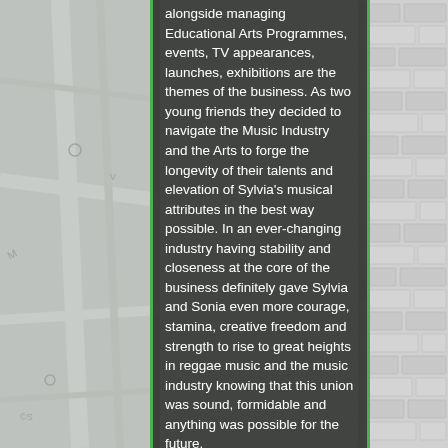alongside managing Educational Arts Programmes, events, TV appearances, launches, exhibitions are the themes of the business. As two young friends they decided to navigate the Music Industry and the Arts to forge the longevity of their talents and elevation of Sylvia's musical attributes in the best way possible. In an ever-changing industry having stability and closeness at the core of the business definitely gave Sylvia and Sonia even more courage, stamina, creative freedom and strength to rise to great heights in reggae music and the music industry knowing that this union was sound, formidable and anything was possible for the future.
Our first year was very busy with much to celebrate and has continued to this day!